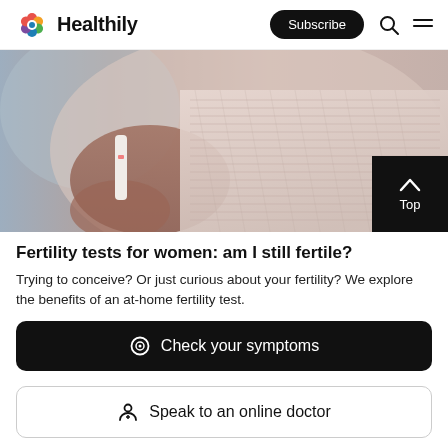Healthily — Subscribe
[Figure (photo): Close-up photo of a person's hands holding a pregnancy/fertility test strip, wearing a pink knitted sweater. Blurred background.]
Fertility tests for women: am I still fertile?
Trying to conceive? Or just curious about your fertility? We explore the benefits of an at-home fertility test.
Check your symptoms
Speak to an online doctor